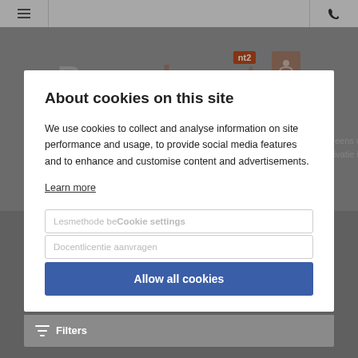Navigation bar with hamburger menu and phone icon
[Figure (logo): Boom NT2 Docent logo with user icon on gray background]
Ben je benieuwd naar een van onze digitale NT2-lesmethoden, en zou je graag eens wat meer willen zien. Hieronder kun je een gratis proeflicentie aanvragen. Na de activatie in NT2 School kun je de methode twee weken lang uitproberen.
About cookies on this site
We use cookies to collect and analyse information on site performance and usage, to provide social media features and to enhance and customise content and advertisements.
Learn more
Cookie settings
Allow all cookies
Filters